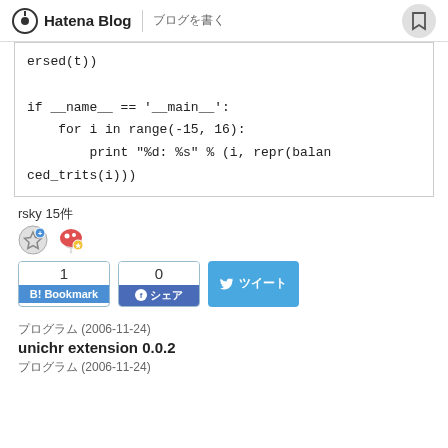Hatena Blog | ブログを書く
ersed(t))


if __name__ == '__main__':
    for i in range(-15, 16):
        print "%d: %s" % (i, repr(balanced_trits(i)))
rsky 15件
1
B! Bookmark   0
シェア   ツイート
プログラム (2006-11-24)
unichr extension 0.0.2
プログラム (2006-11-24)